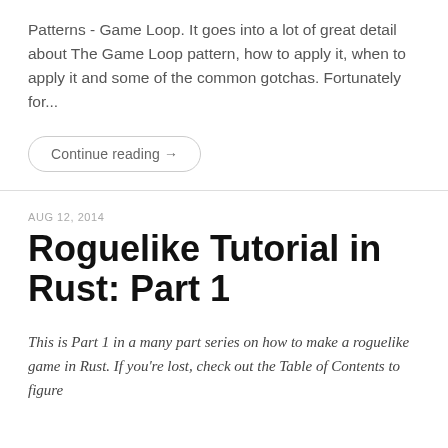Patterns - Game Loop. It goes into a lot of great detail about The Game Loop pattern, how to apply it, when to apply it and some of the common gotchas. Fortunately for...
Continue reading →
AUG 12, 2014
Roguelike Tutorial in Rust: Part 1
This is Part 1 in a many part series on how to make a roguelike game in Rust. If you're lost, check out the Table of Contents to figure